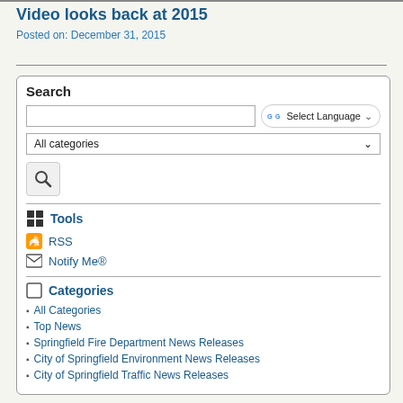Video looks back at 2015
Posted on: December 31, 2015
Search
Select Language
All categories
Tools
RSS
Notify Me®
Categories
All Categories
Top News
Springfield Fire Department News Releases
City of Springfield Environment News Releases
City of Springfield Traffic News Releases